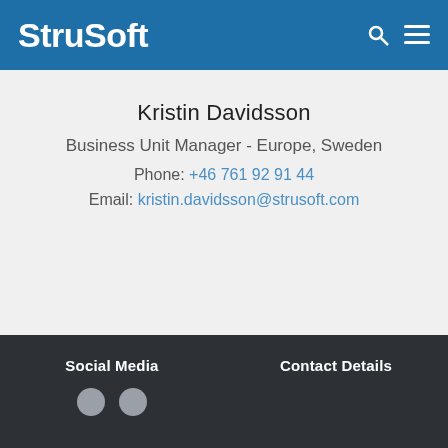StruSoft
Kristin Davidsson
Business Unit Manager - Europe, Sweden
Phone: +46 761 92 91 44
Email: kristin.davidsson@strusoft.com
Social Media
Contact Details